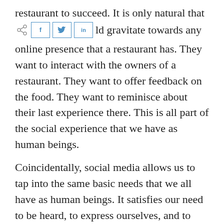restaurant to succeed. It is only natural that consumers would gravitate towards any online presence that a restaurant has. They want to interact with the owners of a restaurant. They want to offer feedback on the food. They want to reminisce about their last experience there. This is all part of the social experience that we have as human beings.
Coincidentally, social media allows us to tap into the same basic needs that we all have as human beings. It satisfies our need to be heard, to express ourselves, and to form connections with others.